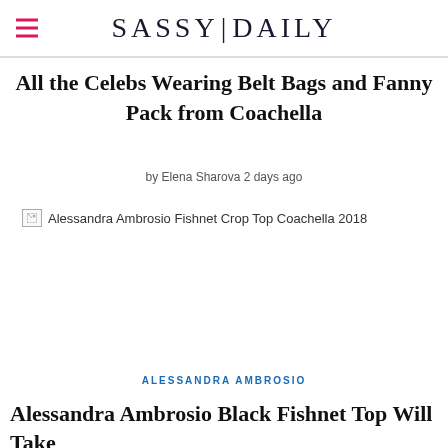SASSY|DAILY
All the Celebs Wearing Belt Bags and Fanny Pack from Coachella
by Elena Sharova 2 days ago
[Figure (photo): Broken image placeholder for 'Alessandra Ambrosio Fishnet Crop Top Coachella 2018']
ALESSANDRA AMBROSIO
Alessandra Ambrosio Black Fishnet Top Will Take